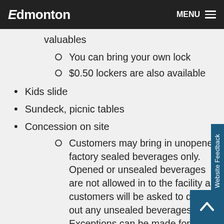Edmonton | MENU
valuables
You can bring your own lock
$0.50 lockers are also available
Kids slide
Sundeck, picnic tables
Concession on site
Customers may bring in unopened, factory sealed beverages only. Opened or unsealed beverages are not allowed in to the facility and customers will be asked to dump out any unsealed beverages. Exceptions can be made for customers who feeding infants onsite, or for customers with medical needs